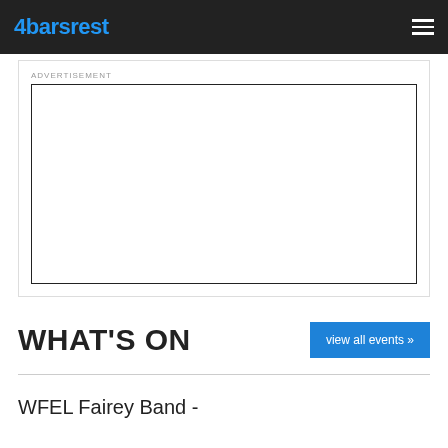4barsrest
ADVERTISEMENT
[Figure (other): Empty advertisement placeholder box with black border]
WHAT'S ON
view all events »
WFEL Fairey Band -